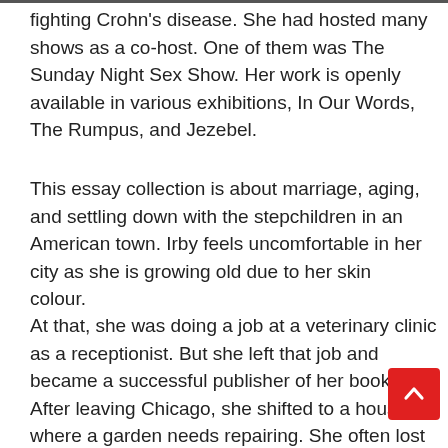fighting Crohn's disease. She had hosted many shows as a co-host. One of them was The Sunday Night Sex Show. Her work is openly available in various exhibitions, In Our Words, The Rumpus, and Jezebel.
This essay collection is about marriage, aging, and settling down with the stepchildren in an American town. Irby feels uncomfortable in her city as she is growing old due to her skin colour.
At that, she was doing a job at a veterinary clinic as a receptionist. But she left that job and became a successful publisher of her books. After leaving Chicago, she shifted to a house where a garden needs repairing. She often lost in dreams. Sometimes she had dates with friends, stayed in Los Angeles and atte meetings there.